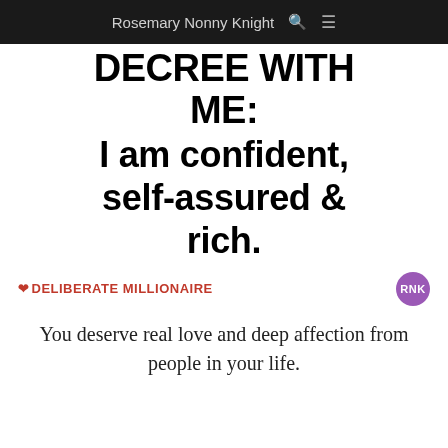Rosemary Nonny Knight
DECREE WITH ME:
I am confident, self-assured & rich.
[Figure (logo): Heart icon followed by DELIBERATE MILLIONAIRE text in red, and RNK purple circle badge on the right]
You deserve real love and deep affection from people in your life.